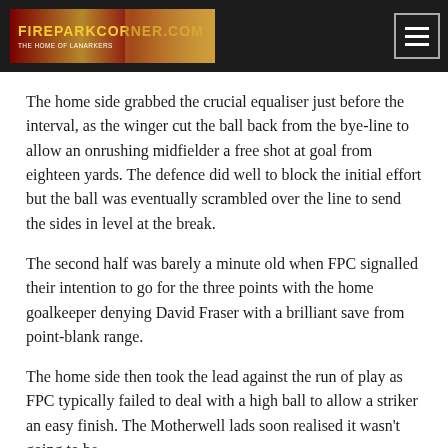FIREPARKCORNER.COM — THE HOME OF LANARKERS
The home side grabbed the crucial equaliser just before the interval, as the winger cut the ball back from the bye-line to allow an onrushing midfielder a free shot at goal from eighteen yards. The defence did well to block the initial effort but the ball was eventually scrambled over the line to send the sides in level at the break.
The second half was barely a minute old when FPC signalled their intention to go for the three points with the home goalkeeper denying David Fraser with a brilliant save from point-blank range.
The home side then took the lead against the run of play as FPC typically failed to deal with a high ball to allow a striker an easy finish. The Motherwell lads soon realised it wasn't going to be